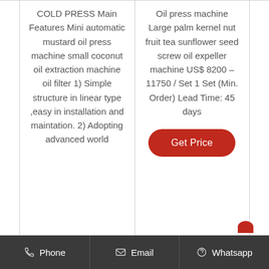COLD PRESS Main Features Mini automatic mustard oil press machine small coconut oil extraction machine oil filter 1) Simple structure in linear type ,easy in installation and maintation. 2) Adopting advanced world
Oil press machine Large palm kernel nut fruit tea sunflower seed screw oil expeller machine US$ 8200 – 11750 / Set 1 Set (Min. Order) Lead Time: 45 days
Get Price
Phone   Email   Whatsapp